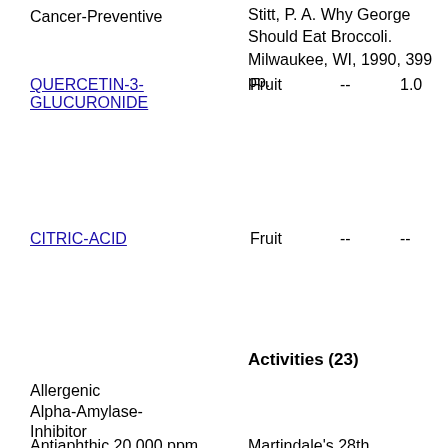Cancer-Preventive
Stitt, P. A. Why George Should Eat Broccoli. Milwaukee, WI, 1990, 399 pp.
QUERCETIN-3-GLUCURONIDE    Fruit    --    1.0
CITRIC-ACID    Fruit    --    --
Activities (23)
Allergenic
Alpha-Amylase-Inhibitor
Antiaphthic 20,000 ppm    Martindale's 28th
Antiatherosclerotic
Antibacterial
Anticalculic